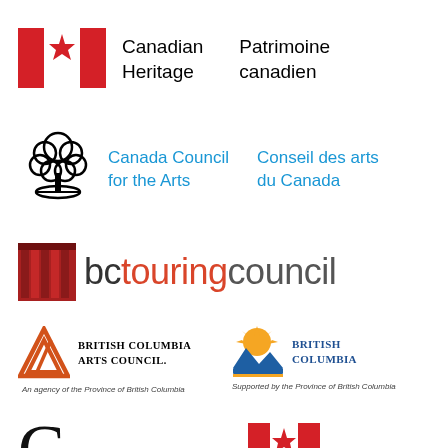[Figure (logo): Canadian Heritage / Patrimoine canadien logo with Canadian flag icon]
[Figure (logo): Canada Council for the Arts / Conseil des arts du Canada logo with tree icon]
[Figure (logo): BC Touring Council logo with red curtain square icon]
[Figure (logo): British Columbia Arts Council logo with orange triangle icon and text 'An agency of the Province of British Columbia']
[Figure (logo): British Columbia logo with sun/mountain graphic and text 'Supported by the Province of British Columbia']
[Figure (logo): Partial logos at bottom of page]